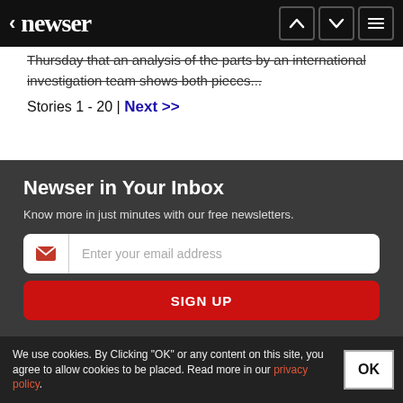newser
Thursday that an analysis of the parts by an international investigation team shows both pieces...
Stories 1 - 20 | Next >>
Newser in Your Inbox
Know more in just minutes with our free newsletters.
Enter your email address
SIGN UP
We use cookies. By Clicking "OK" or any content on this site, you agree to allow cookies to be placed. Read more in our privacy policy.
OK